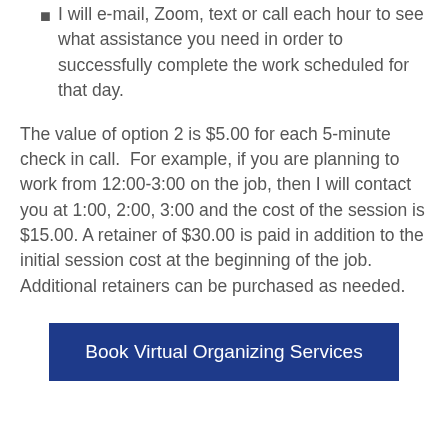I will e-mail, Zoom, text or call each hour to see what assistance you need in order to successfully complete the work scheduled for that day.
The value of option 2 is $5.00 for each 5-minute check in call.  For example, if you are planning to work from 12:00-3:00 on the job, then I will contact you at 1:00, 2:00, 3:00 and the cost of the session is $15.00. A retainer of $30.00 is paid in addition to the initial session cost at the beginning of the job. Additional retainers can be purchased as needed.
Book Virtual Organizing Services